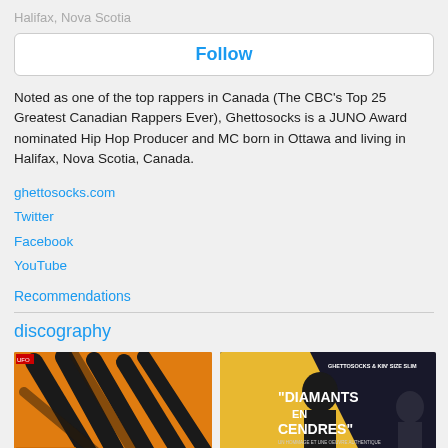Halifax, Nova Scotia
Follow
Noted as one of the top rappers in Canada (The CBC's Top 25 Greatest Canadian Rappers Ever), Ghettosocks is a JUNO Award nominated Hip Hop Producer and MC born in Ottawa and living in Halifax, Nova Scotia, Canada.
ghettosocks.com
Twitter
Facebook
YouTube
Recommendations
discography
[Figure (photo): Album cover with orange background and graffiti-style lettering]
[Figure (photo): Album cover for 'Diamants en Cendres' by Ghettosocks & King Size Slim, dark background with stylized figure]